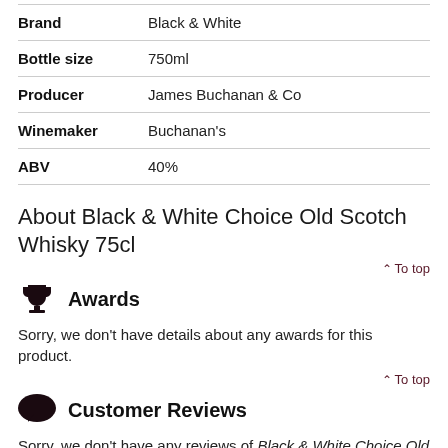| Brand | Black & White |
| Bottle size | 750ml |
| Producer | James Buchanan & Co |
| Winemaker | Buchanan's |
| ABV | 40% |
About Black & White Choice Old Scotch Whisky 75cl
↑ To top
Awards
Sorry, we don't have details about any awards for this product.
↑ To top
Customer Reviews
Sorry, we don't have any reviews of Black & White Choice Old Scotch Whisky 75cl yet. If you've bought it, why not tell us what you think below?